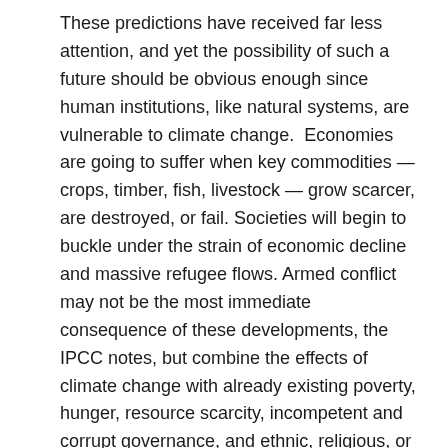These predictions have received far less attention, and yet the possibility of such a future should be obvious enough since human institutions, like natural systems, are vulnerable to climate change.  Economies are going to suffer when key commodities — crops, timber, fish, livestock — grow scarcer, are destroyed, or fail. Societies will begin to buckle under the strain of economic decline and massive refugee flows. Armed conflict may not be the most immediate consequence of these developments, the IPCC notes, but combine the effects of climate change with already existing poverty, hunger, resource scarcity, incompetent and corrupt governance, and ethnic, religious, or national resentments, and you're likely to end up with bitter conflicts over access to food, water, land, and other necessities of life.
The Coming of Climate Civil Wars
Such wars would not arise in a vacuum.  Already